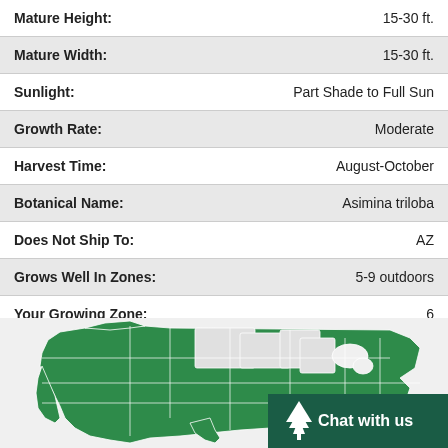| Property | Value |
| --- | --- |
| Mature Height: | 15-30 ft. |
| Mature Width: | 15-30 ft. |
| Sunlight: | Part Shade to Full Sun |
| Growth Rate: | Moderate |
| Harvest Time: | August-October |
| Botanical Name: | Asimina triloba |
| Does Not Ship To: | AZ |
| Grows Well In Zones: | 5-9 outdoors |
| Your Growing Zone: | 6 |
[Figure (map): US hardiness zone map showing growing zones 5-9 highlighted in green, indicating where the plant grows well outdoors.]